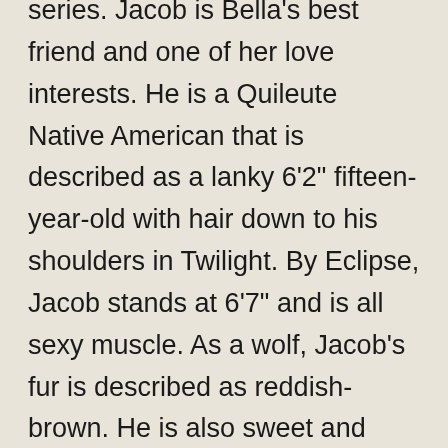series. Jacob is Bella's best friend and one of her love interests. He is a Quileute Native American that is described as a lanky 6'2" fifteen-year-old with hair down to his shoulders in Twilight. By Eclipse, Jacob stands at 6'7" and is all sexy muscle. As a wolf, Jacob's fur is described as reddish-brown. He is also sweet and cheerful, yet hotheaded. After Edward leaves Bella in New Moon, the lost Bella spends most of her time with Jacob. In the third book, Eclipse, Jacob spends almost the entire book trying to win over Bella.